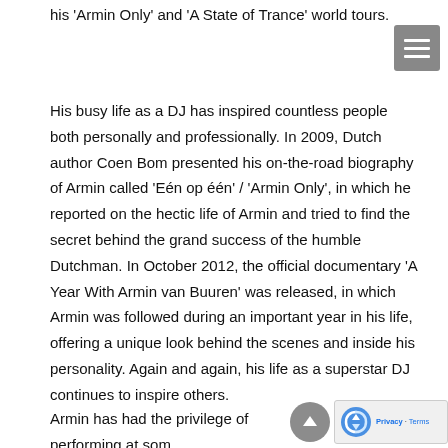his 'Armin Only' and 'A State of Trance' world tours.
His busy life as a DJ has inspired countless people both personally and professionally. In 2009, Dutch author Coen Bom presented his on-the-road biography of Armin called 'Eén op één' / 'Armin Only', in which he reported on the hectic life of Armin and tried to find the secret behind the grand success of the humble Dutchman. In October 2012, the official documentary 'A Year With Armin van Buuren' was released, in which Armin was followed during an important year in his life, offering a unique look behind the scenes and inside his personality. Again and again, his life as a superstar DJ continues to inspire others.
Armin has had the privilege of performing at som the world's biggest and best festivals and has...